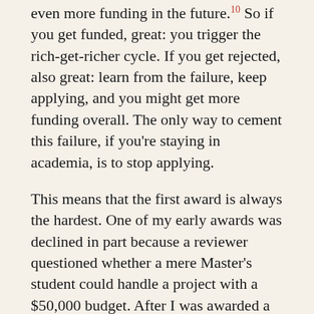even more funding in the future.¹⁰ So if you get funded, great: you trigger the rich-get-richer cycle. If you get rejected, also great: learn from the failure, keep applying, and you might get more funding overall. The only way to cement this failure, if you're staying in academia, is to stop applying.
This means that the first award is always the hardest. One of my early awards was declined in part because a reviewer questioned whether a mere Master's student could handle a project with a $50,000 budget. After I was awarded a five-figure grant from another funder, I re-applied to the original funder and said that I had led similar-sized projects: this time, the application was